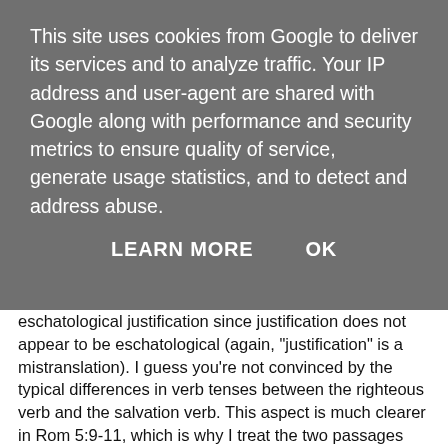This site uses cookies from Google to deliver its services and to analyze traffic. Your IP address and user-agent are shared with Google along with performance and security metrics to ensure quality of service, generate usage statistics, and to detect and address abuse.
LEARN MORE    OK
eschatological justification since justification does not appear to be eschatological (again, "justification" is a mistranslation). I guess you're not convinced by the typical differences in verb tenses between the righteous verb and the salvation verb. This aspect is much clearer in Rom 5:9-11, which is why I treat the two passages together. The language of Rom 10:10 "for righteousness" and "for salvation" is ambiguous, and so I would prefer to interpret the more ambiguous passage in light of the more clear passage. However, Rom 10:9-10 is a strange interpretation of Deut 30:14 in which Paul is bound somewhat by his proof-text. Still, I think Rom 10:9-10 is a summary statement that encompasses in succinct fashion more than what is specifically stated. In other words, Rom 10:9-10 is not the